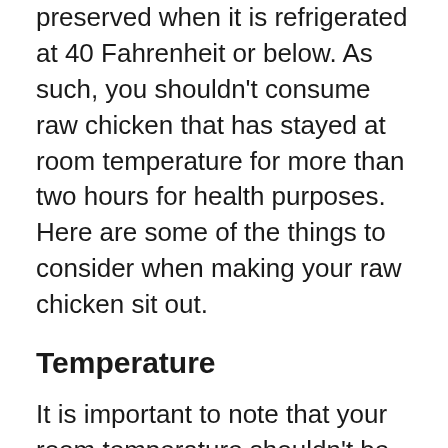preserved when it is refrigerated at 40 Fahrenheit or below. As such, you shouldn't consume raw chicken that has stayed at room temperature for more than two hours for health purposes. Here are some of the things to consider when making your raw chicken sit out.
Temperature
It is important to note that your room temperature shouldn't be higher than 72° Fahrenheit. If it is, your raw chicken can only sit out for one hour. Warmer temperatures make perishable food